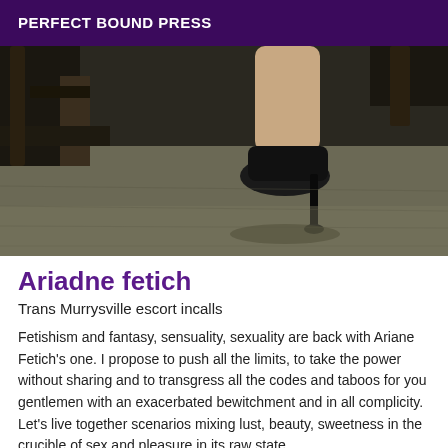PERFECT BOUND PRESS
[Figure (photo): Dark photograph showing a woman's leg in a black high-heel stiletto shoe, with a dark wooden furniture piece in the background on a gray carpeted floor.]
Ariadne fetich
Trans Murrysville escort incalls
Fetishism and fantasy, sensuality, sexuality are back with Ariane Fetich's one. I propose to push all the limits, to take the power without sharing and to transgress all the codes and taboos for you gentlemen with an exacerbated bewitchment and in all complicity. Let's live together scenarios mixing lust, beauty, sweetness in the crucible of sex and pleasure in its raw state.